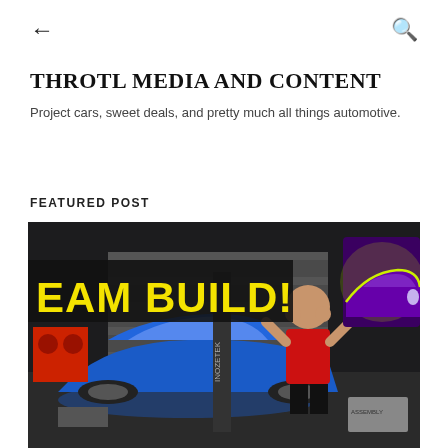← (back arrow)   (search icon)
THROTL MEDIA AND CONTENT
Project cars, sweet deals, and pretty much all things automotive.
FEATURED POST
[Figure (photo): YouTube thumbnail image showing a man in a red shirt standing in front of a blue sports car (Subaru BRZ/Toyota 86) in a garage. Text overlay reads 'EAM BUILD!' in large yellow bold letters on a black background. A purple modified sports car is visible in the upper right corner with yellow lighting. Garage equipment and car parts visible in the background.]